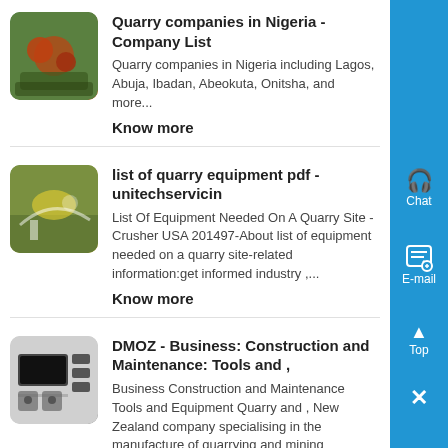Quarry companies in Nigeria - Company List
Quarry companies in Nigeria including Lagos, Abuja, Ibadan, Abeokuta, Onitsha, and more...
Know more
list of quarry equipment pdf - unitechservicin
List Of Equipment Needed On A Quarry Site - Crusher USA 201497-About list of equipment needed on a quarry site-related information:get informed industry ,...
Know more
DMOZ - Business: Construction and Maintenance: Tools and ,
Business Construction and Maintenance Tools and Equipment Quarry and , New Zealand company specialising in the manufacture of quarrying and mining equipment,...
Know more